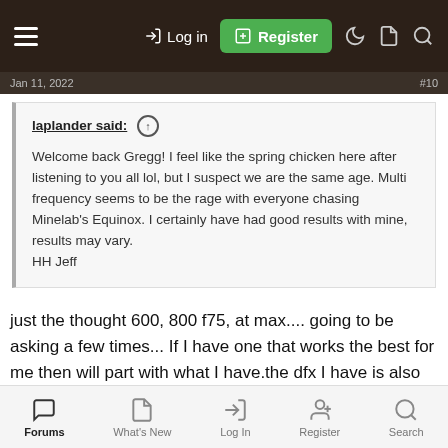Log in | Register
Jan 11, 2022 ... #10
laplander said: ↑

Welcome back Gregg! I feel like the spring chicken here after listening to you all lol, but I suspect we are the same age. Multi frequency seems to be the rage with everyone chasing Minelab's Equinox. I certainly have had good results with mine, results may vary.
HH Jeff
just the thought 600, 800 f75, at max.... going to be asking a few times... If I have one that works the best for me then will part with what I have.the dfx I have is also multi frequency one of the first. The Explorer Se was so big back then and as I started hitting silver in spots I had already been with the dfx... So want to finish learning that too...
Forums | What's New | Log In | Register | Search